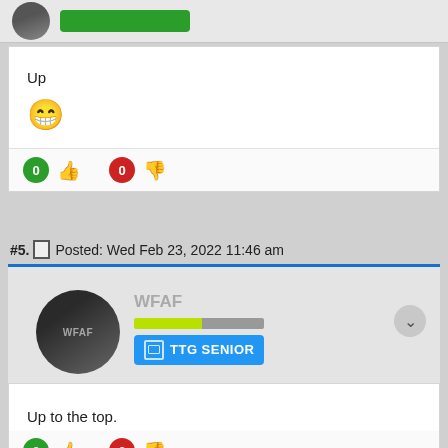[Figure (screenshot): Top portion of a forum post card with avatar and green button]
Up
[Figure (other): Grinning face emoji]
0 (thumbs up) 0 (thumbs down)
#5. Posted: Wed Feb 23, 2022 11:46 am
[Figure (photo): WFAF user avatar with rank badge TTG SENIOR, progress bar, and collapse button]
Up to the top.
0 (thumbs up) 0 (thumbs down)